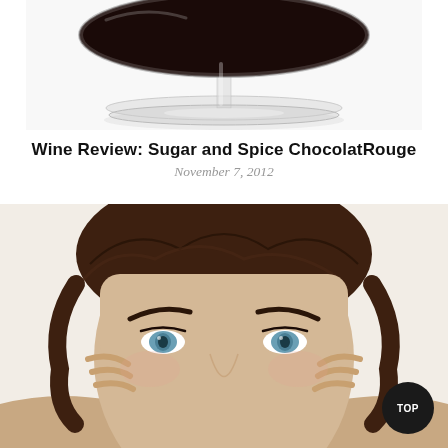[Figure (photo): Top-down view of a red wine glass filled with dark red wine, showing the glass base and stem on white background]
Wine Review: Sugar and Spice ChocolatRouge
November 7, 2012
[Figure (photo): Close-up photo of a woman with brown hair looking up with fingers near her temples, white background]